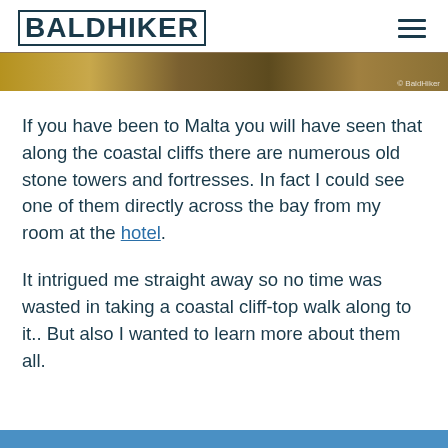BALDHIKER
[Figure (photo): A partial view of a rocky/sandy coastal landscape, cropped at the top of the page with a photographer watermark in the bottom-right corner.]
If you have been to Malta you will have seen that along the coastal cliffs there are numerous old stone towers and fortresses. In fact I could see one of them directly across the bay from my room at the hotel.
It intrigued me straight away so no time was wasted in taking a coastal cliff-top walk along to it.. But also I wanted to learn more about them all.